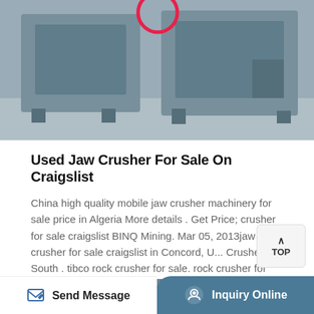[Figure (photo): Industrial jaw crusher machinery, gray metal equipment on a concrete floor, with a red circle highlight at the top]
Used Jaw Crusher For Sale On Craigslist
China high quality mobile jaw crusher machinery for sale price in Algeria More details . Get Price; crusher for sale craigslist BINQ Mining. Mar 05, 2013jaw crusher for sale craigslist in Concord, U... Crusher South . tibco rock crusher for sale. rock crusher for sale, jaw rock crusher for sale rock crusher for sale or stone crusher for sale from ...
More Details →
[Figure (photo): Bottom strip showing partial view of industrial machinery]
Send Message   Inquiry Online